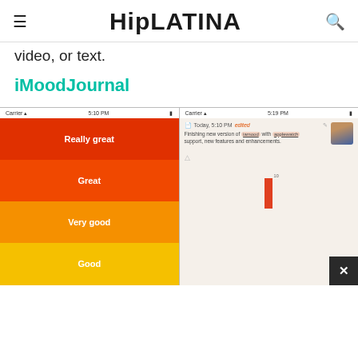HipLATINA
video, or text.
iMoodJournal
[Figure (screenshot): Two smartphone screenshots of the iMoodJournal app. Left screen shows mood selection options: Really great (red), Great (orange-red), Very good (orange), Good (yellow). Right screen shows a journal entry dated Today 5:10 PM with text about a new version with applewatch support, a user avatar, and a small bar chart.]